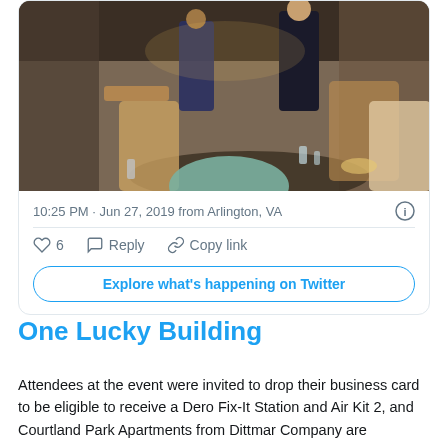[Figure (photo): Twitter card embed showing a restaurant/event scene photo with people seated at tables, a person in a dark dress standing and speaking, interior restaurant setting with wooden chairs and warm lighting.]
10:25 PM · Jun 27, 2019 from Arlington, VA
6  Reply  Copy link
Explore what's happening on Twitter
One Lucky Building
Attendees at the event were invited to drop their business card to be eligible to receive a Dero Fix-It Station and Air Kit 2, and Courtland Park Apartments from Dittmar Company are